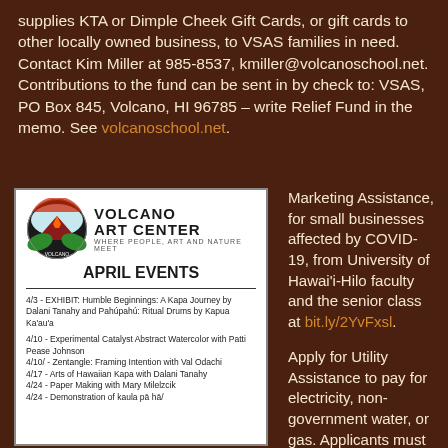supplies KTA or Dimple Cheek Gift Cards, or gift cards to other locally owned business, to VSAS families in need. Contact Kim Miller at 985-8537, kmiller@volcanoschool.net. Contributions to the fund can be sent in by check to: VSAS, PO Box 845, Volcano, HI 96785 – write Relief Fund in the memo. See volcanoschool.net.
[Figure (other): Volcano Art Center flyer for April Events listing exhibits and workshops including Humble Beginnings: A Kapa Journey, Experimental Catalyst Abstract Watercolor, Zentangle, Arts of Hawaiian Kapa, Paper Making, and Demonstration of kaula pa ha.]
Marketing Assistance, for small businesses affected by COVID-19, from University of Hawai'i-Hilo faculty and the senior class at bit.ly/2YvFxsl.
Apply for Utility Assistance to pay for electricity, non-government water, or gas. Applicants must be a Hawai'i Island resident, at least 18 years old, lost